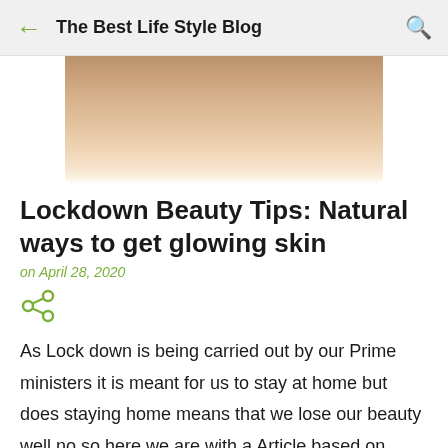The Best Life Style Blog
[Figure (photo): Close-up photo of a person's glowing skin face, partially cropped, showing skin and dark hair against white background]
Lockdown Beauty Tips: Natural ways to get glowing skin
on April 28, 2020
[Figure (infographic): Share icon (three connected dots)]
As Lock down is being carried out by our Prime ministers it is meant for us to stay at home but does staying home means that we lose our beauty well no so here we are with a Article based on homemade ways for a glowing skin